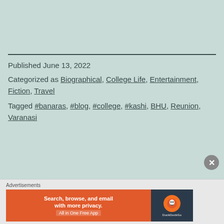Published June 13, 2022
Categorized as Biographical, College Life, Entertainment, Fiction, Travel
Tagged #banaras, #blog, #college, #kashi, BHU, Reunion, Varanasi
[Figure (other): DuckDuckGo advertisement banner: 'Search, browse, and email with more privacy. All in One Free App' with DuckDuckGo logo on dark blue background]
Advertisements